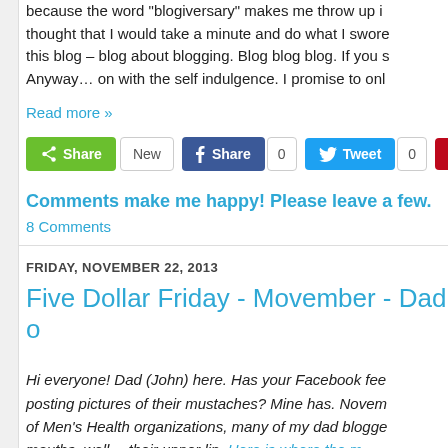because the word "blogiversary" makes me throw up i thought that I would take a minute and do what I swore this blog – blog about blogging. Blog blog blog. If you s Anyway… on with the self indulgence. I promise to onl
Read more »
[Figure (screenshot): Social sharing buttons: green Share button, New button, Facebook Share button with count 0, Twitter Tweet button with count 0, Pinterest Pin button]
Comments make me happy! Please leave a few.
8 Comments
FRIDAY, NOVEMBER 22, 2013
Five Dollar Friday - Movember - Dad o
Hi everyone! Dad (John) here. Has your Facebook fee posting pictures of their mustaches? Mine has. Novem of Men's Health organizations, many of my dad blogge mouths, well… their upper lip. Here is where the m